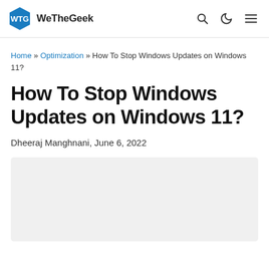WeTheGeek
Home » Optimization » How To Stop Windows Updates on Windows 11?
How To Stop Windows Updates on Windows 11?
Dheeraj Manghnani, June 6, 2022
[Figure (other): Light gray placeholder image area below the article byline]